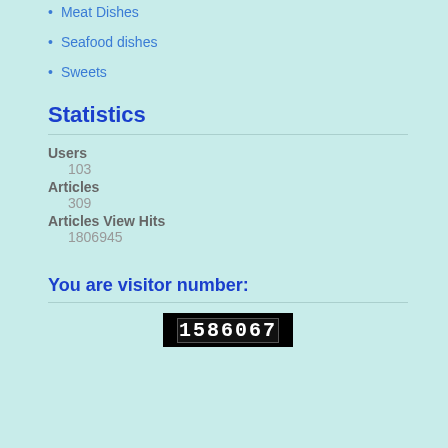Meat Dishes
Seafood dishes
Sweets
Statistics
Users
103
Articles
309
Articles View Hits
1806945
You are visitor number:
[Figure (other): Digital visitor counter showing number 1586067]